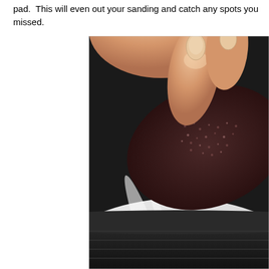pad.  This will even out your sanding and catch any spots you missed.
[Figure (photo): Close-up photo of a hand holding a dark abrasive sanding pad against a shiny curved metal surface (appears to be a wheel or rim), showing the sanding pad's texture and the metallic surface below.]